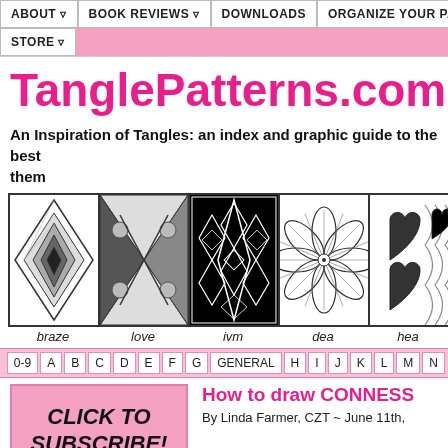ABOUT | BOOK REVIEWS | DOWNLOADS | ORGANIZE YOUR PATTERNS | SUB... | STORE
TanglePatterns.com
An Inspiration of Tangles: an index and graphic guide to the best tangle patterns and how to draw them
[Figure (illustration): Five tangle pattern squares showing: braze, love, ivm, dea, hea]
braze   love   ivm   dea   hea
0-9 A B C D E F G GENERAL H I J K L M N
[Figure (infographic): Pink CLICK TO SUBSCRIBE! ~ it's free ~ button]
How to draw CONNESS
By Linda Farmer, CZT ~ June 11th,
[Figure (logo): Zentangle® logo in green box]